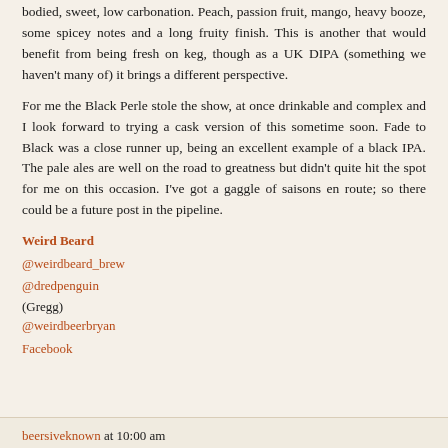bodied, sweet, low carbonation. Peach, passion fruit, mango, heavy booze, some spicey notes and a long fruity finish. This is another that would benefit from being fresh on keg, though as a UK DIPA (something we haven't many of) it brings a different perspective.
For me the Black Perle stole the show, at once drinkable and complex and I look forward to trying a cask version of this sometime soon. Fade to Black was a close runner up, being an excellent example of a black IPA. The pale ales are well on the road to greatness but didn't quite hit the spot for me on this occasion. I've got a gaggle of saisons en route; so there could be a future post in the pipeline.
Weird Beard
@weirdbeard_brew
@dredpenguin (Gregg)
@weirdbeerbryan
Facebook
beersiveknown at 10:00 am